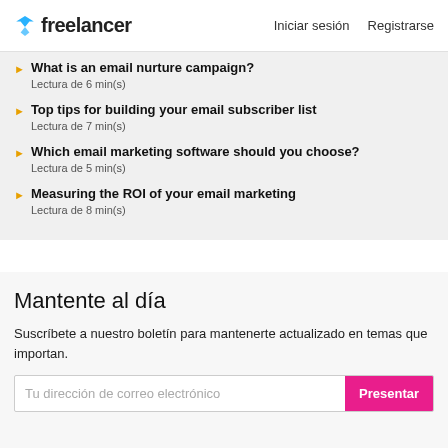freelancer | Iniciar sesión  Registrarse
What is an email nurture campaign? — Lectura de 6 min(s)
Top tips for building your email subscriber list — Lectura de 7 min(s)
Which email marketing software should you choose? — Lectura de 5 min(s)
Measuring the ROI of your email marketing — Lectura de 8 min(s)
Mantente al día
Suscríbete a nuestro boletín para mantenerte actualizado en temas que importan.
Tu dirección de correo electrónico  Presentar